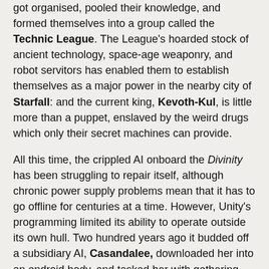got organised, pooled their knowledge, and formed themselves into a group called the Technic League. The League's hoarded stock of ancient technology, space-age weaponry, and robot servitors has enabled them to establish themselves as a major power in the nearby city of Starfall: and the current king, Kevoth-Kul, is little more than a puppet, enslaved by the weird drugs which only their secret machines can provide.
All this time, the crippled AI onboard the Divinity has been struggling to repair itself, although chronic power supply problems mean that it has to go offline for centuries at a time. However, Unity's programming limited its ability to operate outside its own hull. Two hundred years ago it budded off a subsidiary AI, Casandalee, downloaded her into an android body, and tasked her with gathering the power and resources it required. Casandalee soon concluded that Unity was hopelessly crazed, and fled away into the world, taking a stash of copied data-files with her. Unity retaliated by sending out hunter-killer robots to hunt her down: they caught up with her at the Scar of the Spider, forcing her to abandon her data stash, and then again in the